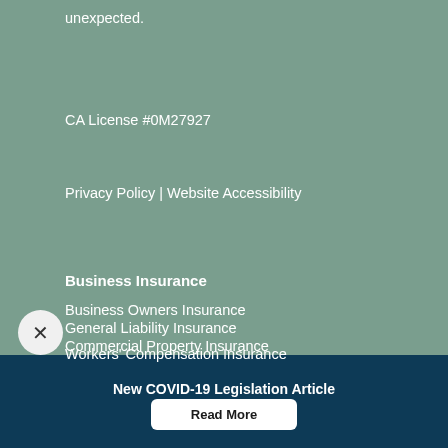unexpected.
CA License #0M27927
Privacy Policy | Website Accessibility
Business Insurance
Business Owners Insurance
General Liability Insurance
Commercial Property Insurance
Workers' Compensation Insurance
New COVID-19 Legislation Article
Read More